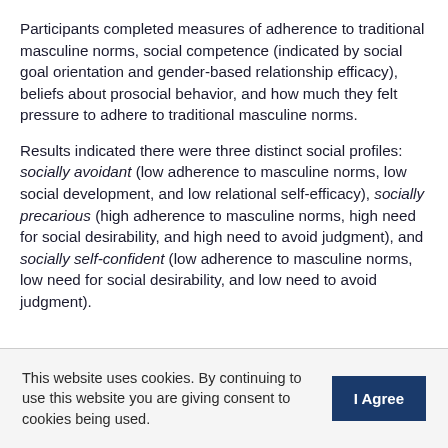Participants completed measures of adherence to traditional masculine norms, social competence (indicated by social goal orientation and gender-based relationship efficacy), beliefs about prosocial behavior, and how much they felt pressure to adhere to traditional masculine norms.
Results indicated there were three distinct social profiles: socially avoidant (low adherence to masculine norms, low social development, and low relational self-efficacy), socially precarious (high adherence to masculine norms, high need for social desirability, and high need to avoid judgment), and socially self-confident (low adherence to masculine norms, low need for social desirability, and low need to avoid judgment).
This website uses cookies. By continuing to use this website you are giving consent to cookies being used. I Agree